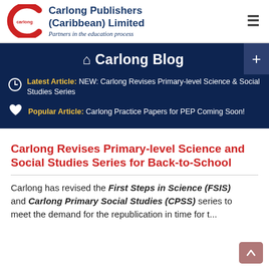[Figure (logo): Carlong Publishers (Caribbean) Limited logo with red C icon and tagline 'Partners in the education process']
Carlong Publishers (Caribbean) Limited — Partners in the education process
🏠 Carlong Blog
Latest Article: NEW: Carlong Revises Primary-level Science & Social Studies Series
Popular Article: Carlong Practice Papers for PEP Coming Soon!
Carlong Revises Primary-level Science and Social Studies Series for Back-to-School
Carlong has revised the First Steps in Science (FSIS) and Carlong Primary Social Studies (CPSS) series to meet the demand for the republication in time for...